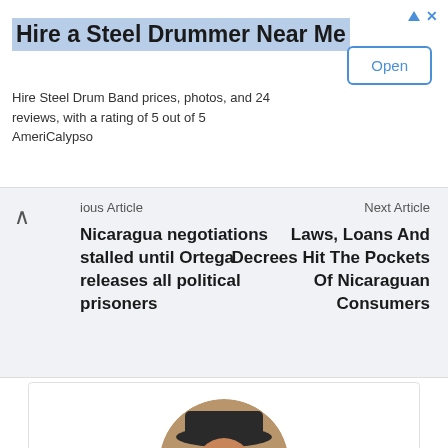[Figure (infographic): Advertisement banner: 'Hire a Steel Drummer Near Me' with Open button]
Hire Steel Drum Band prices, photos, and 24 reviews, with a rating of 5 out of 5 AmeriCalypso
ious Article
Nicaragua negotiations stalled until Ortega releases all political prisoners
Next Article
Laws, Loans And Decrees Hit The Pockets Of Nicaraguan Consumers
[Figure (photo): Circular profile photo of a man wearing a dark hat and red-tinted sunglasses, dressed in a dark suit]
Rico
http://torresreport.com